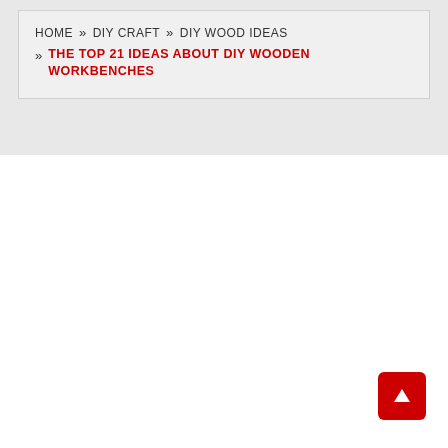HOME » DIY CRAFT » DIY WOOD IDEAS » THE TOP 21 IDEAS ABOUT DIY WOODEN WORKBENCHES